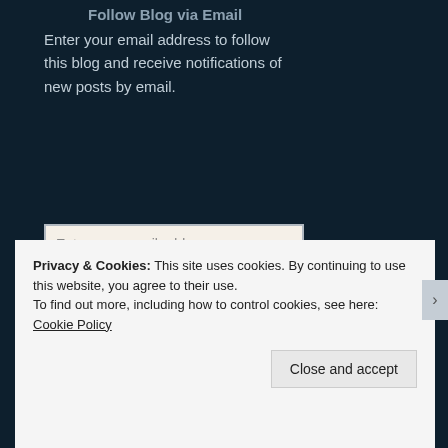Follow Blog via Email
Enter your email address to follow this blog and receive notifications of new posts by email.
Enter your email address
Follow
Join 277 other followers
Privacy & Cookies: This site uses cookies. By continuing to use this website, you agree to their use.
To find out more, including how to control cookies, see here: Cookie Policy
Close and accept